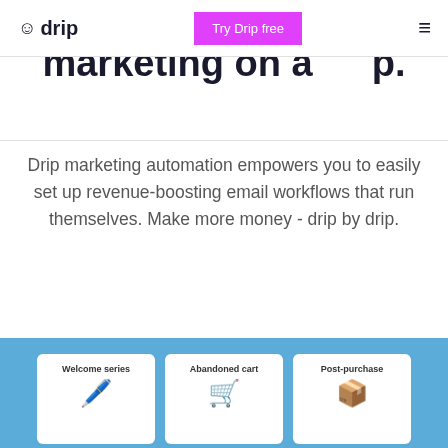drip | Try Drip free | ☰
Put your ecommerce marketing on autopilot.
Drip marketing automation empowers you to easily set up revenue-boosting email workflows that run themselves. Make more money - drip by drip.
Start free trial
[Figure (screenshot): Blue banner section showing three card panels: Welcome series, Abandoned cart, Post-purchase]